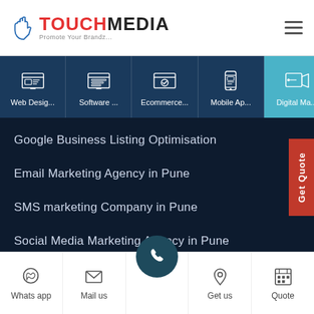[Figure (logo): TouchMedia logo with hand icon and tagline 'Promote Your Brandz...']
[Figure (screenshot): Navigation bar with 5 service icons: Web Design, Software, Ecommerce, Mobile App, Digital Marketing]
Google Business Listing Optimisation
Email Marketing Agency in Pune
SMS marketing Company in Pune
Social Media Marketing Agency in Pune
Tweets by AdsTouchmedia
[Figure (screenshot): Bottom navigation bar with Whats app, Mail us, phone call button, Get us, and Quote icons]